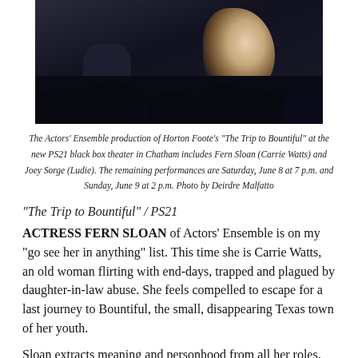[Figure (photo): A dark theater photo showing a performer in a floral/light-colored dress on stage, with silhouettes of audience members in the foreground and another figure on stage left.]
The Actors' Ensemble production of Horton Foote's “The Trip to Bountiful” at the new PS21 black box theater in Chatham includes Fern Sloan (Carrie Watts) and Joey Sorge (Ludie). The remaining performances are Saturday, June 8 at 7 p.m. and Sunday, June 9 at 2 p.m. Photo by Deirdre Malfatto
“The Trip to Bountiful” / PS21
ACTRESS FERN SLOAN of Actors’ Ensemble is on my “go see her in anything” list. This time she is Carrie Watts, an old woman flirting with end-days, trapped and plagued by daughter-in-law abuse. She feels compelled to escape for a last journey to Bountiful, the small, disappearing Texas town of her youth.
Sloan extracts meaning and personhood from all her roles. Beauty is hers too—from large wide-set eyes that live a